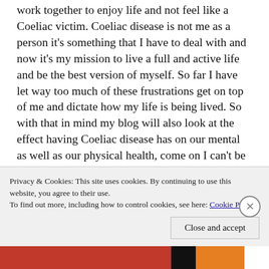work together to enjoy life and not feel like a Coeliac victim. Coeliac disease is not me as a person it's something that I have to deal with and now it's my mission to live a full and active life and be the best version of myself. So far I have let way too much of these frustrations get on top of me and dictate how my life is being lived. So with that in mind my blog will also look at the effect having Coeliac disease has on our mental as well as our physical health, come on I can't be the only crazy one out there.

Can we live a happy Gluten-free life with all the stresses that go with having Coeliac disease?
Privacy & Cookies: This site uses cookies. By continuing to use this website, you agree to their use. To find out more, including how to control cookies, see here: Cookie Policy
Close and accept